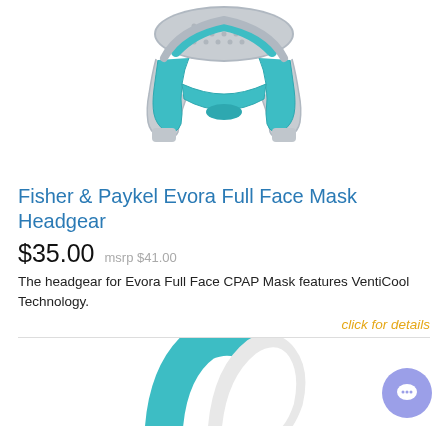[Figure (photo): Fisher & Paykel Evora Full Face Mask Headgear product photo showing gray and teal headgear straps with mesh top panel]
Fisher & Paykel Evora Full Face Mask Headgear
$35.00  msrp $41.00
The headgear for Evora Full Face CPAP Mask features VentiCool Technology.
click for details
[Figure (photo): Partial view of another CPAP mask headgear product in teal and white, cropped at bottom of page]